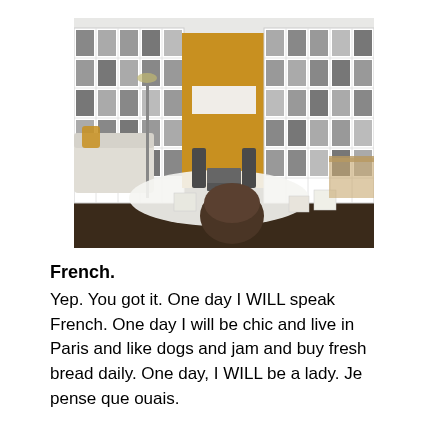[Figure (photo): Interior photo of a living room/music room with floor-to-ceiling white shelving units filled with vinyl records on either side, a golden/mustard yellow panel in the center with a white rectangle, stereo speakers and audio equipment on the floor, a white sofa on the left with a gold/yellow cushion, a white fluffy rug, a round dark beanbag chair in the foreground center, and dark hardwood flooring.]
French.
Yep. You got it. One day I WILL speak French. One day I will be chic and live in Paris and like dogs and jam and buy fresh bread daily. One day, I WILL be a lady. Je pense que ouais.